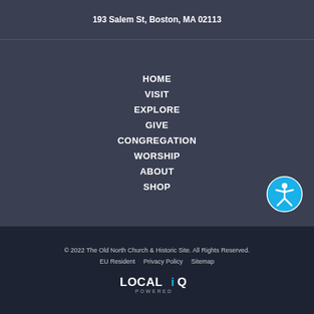193 Salem St, Boston, MA 02113
HOME
VISIT
EXPLORE
GIVE
CONGREGATION
WORSHIP
ABOUT
SHOP
[Figure (illustration): Accessibility icon: blue circle with white stick figure person with arms and legs spread]
© 2022 The Old North Church & Historic Site. All Rights Reserved.
EU Resident   Privacy Policy   Sitemap
[Figure (logo): LOCALiQ POWERED logo in white and cyan]